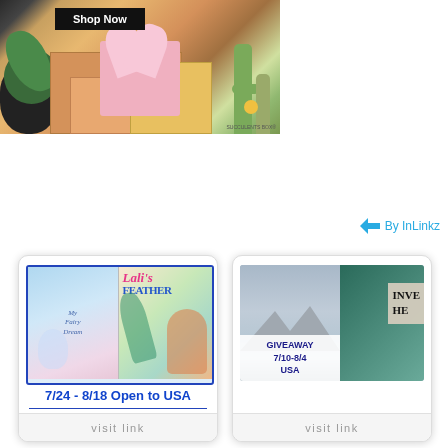[Figure (photo): Gift box set with pink ribbons, succulent plants and cacti, with a Shop Now button overlay. Succulents Box branded packaging.]
By InLinkz
[Figure (photo): Card showing two children's book covers. Left book appears to be a fantasy/fairy tale. Right book is 'Lali's Feather'. Text reads: 7/24 - 8/18 Open to USA. visit link at bottom.]
[Figure (photo): Card showing book cover with mountain landscape and teal book. Text overlay reads GIVEAWAY 7/10-8/4 USA. Right side shows partial text INVE and HE. visit link at bottom.]